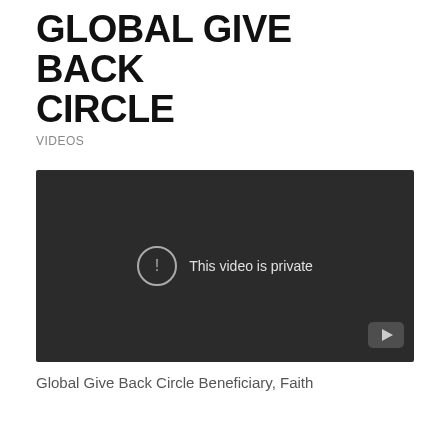GLOBAL GIVE BACK CIRCLE
VIDEOS
[Figure (screenshot): A dark video player showing the message 'This video is private' with a warning icon circle and YouTube logo in the bottom right corner.]
Global Give Back Circle Beneficiary, Faith